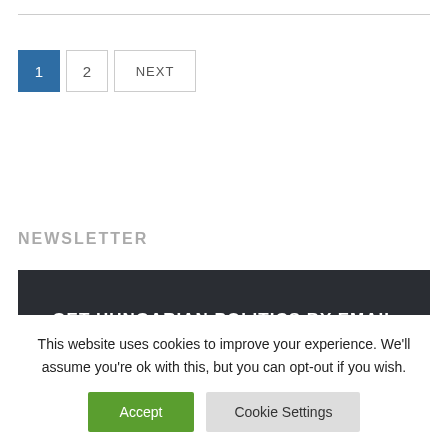1  2  NEXT
NEWSLETTER
GET HUNGARIAN POLITICS BY EMAIL
Sign up for our newsletter to get the featured
This website uses cookies to improve your experience. We'll assume you're ok with this, but you can opt-out if you wish.
Accept  Cookie Settings